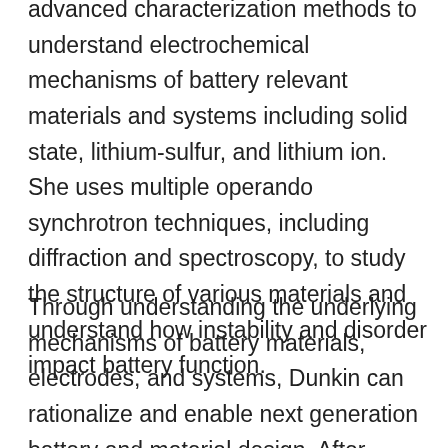advanced characterization methods to understand electrochemical mechanisms of battery relevant materials and systems including solid state, lithium-sulfur, and lithium ion. She uses multiple operando synchrotron techniques, including diffraction and spectroscopy, to study the structure of various materials and understand how instability and disorder impact battery function.
Through understanding the underlying mechanisms of battery materials, electrodes, and systems, Dunkin can rationalize and enable next generation battery and material design. After finishing her Ph.D., she intends to continue her involvement with advanced characterization